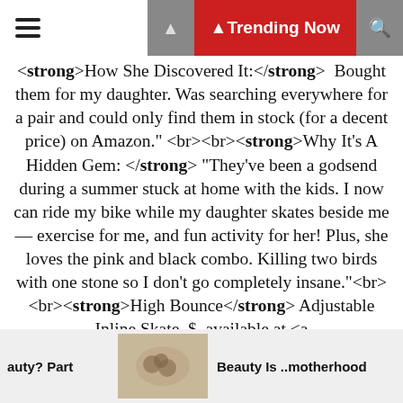Trending Now
<strong>How She Discovered It.</strong>  Bought them for my daughter. Was searching everywhere for a pair and could only find them in stock (for a decent price) on Amazon." <br><br><strong>Why It's A Hidden Gem: </strong> "They've been a godsend during a summer stuck at home with the kids. I now can ride my bike while my daughter skates beside me — exercise for me, and fun activity for her! Plus, she loves the pink and black combo. Killing two birds with one stone so I don't go completely insane."<br><br><strong>High Bounce</strong> Adjustable Inline Skate, $, available at <a href="https://amzn.to/3juimqJ" rel="nofollow noopener" target="_blank" data-ylk="slk:Amazon" class="link rapid-noclick-resp">Amazon</a>
[Figure (photo): Small thumbnail image of jewelry/earrings in footer navigation]
auty? Part
Beauty Is ..motherhood